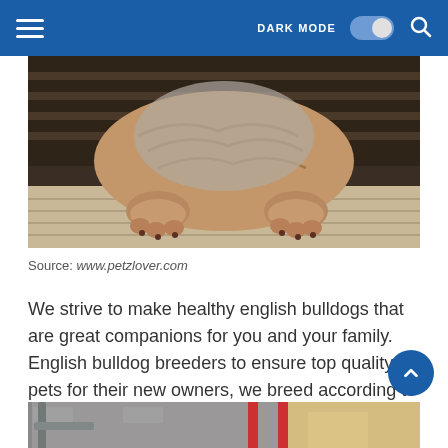DARK MODE [toggle] [search]
[Figure (photo): Close-up photo of an English Bulldog puppy from below/behind, showing its wrinkled body, thick legs, and paws on a wooden deck surface, with a wicker basket in the background.]
Source: www.petzlover.com
We strive to make healthy english bulldogs that are great companions for you and your family. English bulldog breeders to ensure top quality pets for their new owners, we breed according to the english bulldog standards put out by the canadian kennel club.
[Figure (photo): Partial photo at bottom of page showing outdoor scene with metal equipment and brick wall visible.]